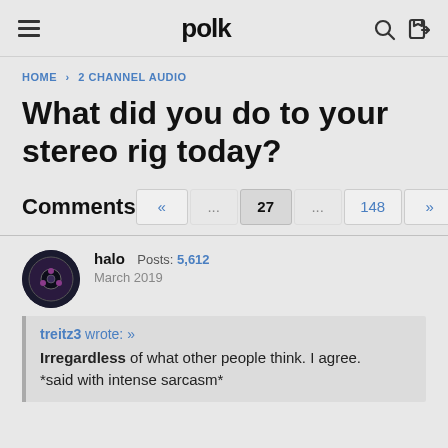polk
HOME › 2 CHANNEL AUDIO
What did you do to your stereo rig today?
Comments
« ... 27 ... 148 »
halo Posts: 5,612 March 2019
treitz3 wrote: » Irregardless of what other people think. I agree. *said with intense sarcasm*